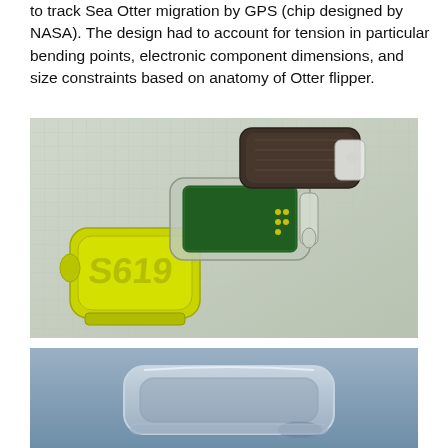to track Sea Otter migration by GPS (chip designed by NASA). The design had to account for tension in particular bending points, electronic component dimensions, and size constraints based on anatomy of Otter flipper.
[Figure (photo): Photograph of three small electronic sensor devices/tags on graph paper. One is yellow-green with embossed numbers, another is translucent/grey showing a green circuit board, and a third dark one is visible in the background.]
[Figure (photo): 3D render or CAD image of a small rectangular translucent enclosure/tag against a grey-blue background, showing internal cavity details.]